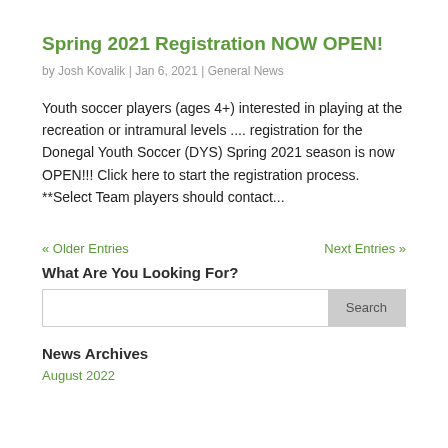Spring 2021 Registration NOW OPEN!
by Josh Kovalik | Jan 6, 2021 | General News
Youth soccer players (ages 4+) interested in playing at the recreation or intramural levels .... registration for the Donegal Youth Soccer (DYS) Spring 2021 season is now OPEN!!! Click here to start the registration process. **Select Team players should contact...
« Older Entries    Next Entries »
What Are You Looking For?
Search
News Archives
August 2022